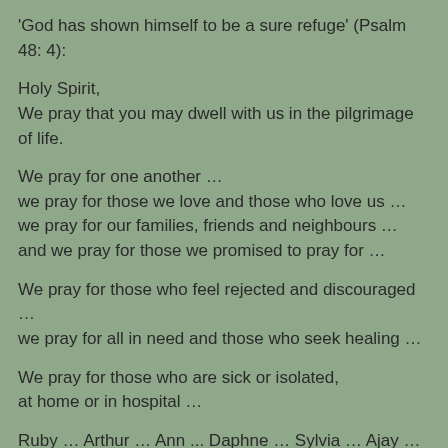'God has shown himself to be a sure refuge' (Psalm 48: 4):
Holy Spirit,
We pray that you may dwell with us in the pilgrimage of life.
We pray for one another …
we pray for those we love and those who love us …
we pray for our families, friends and neighbours …
and we pray for those we promised to pray for …
We pray for those who feel rejected and discouraged …
we pray for all in need and those who seek healing …
We pray for those who are sick or isolated,
at home or in hospital …
Ruby … Arthur … Ann ... Daphne … Sylvia … Ajay … Adam
…
We pray for all who grieve and mourn at this time …
for all who are broken-hearted,